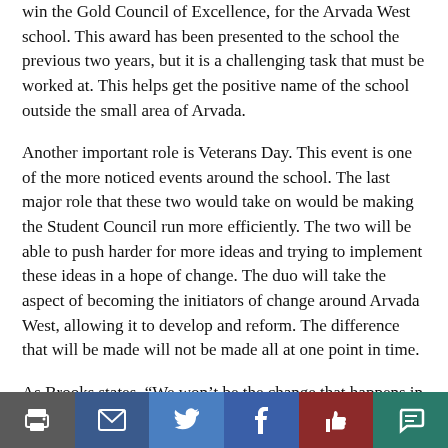win the Gold Council of Excellence, for the Arvada West school. This award has been presented to the school the previous two years, but it is a challenging task that must be worked at. This helps get the positive name of the school outside the small area of Arvada.
Another important role is Veterans Day. This event is one of the more noticed events around the school. The last major role that these two would take on would be making the Student Council run more efficiently. The two will be able to push harder for more ideas and trying to implement these ideas in a hope of change. The duo will take the aspect of becoming the initiators of change around Arvada West, allowing it to develop and reform. The difference that will be made will not be made all at one point in time.
As Brooks states, “We won’t be the change that happens in a year, happens in a month. We’re planting those seeds, that legacy so that this change can continue to evolve and grow throughout the years that lead to graduation.”
[Figure (infographic): Social sharing toolbar with print, email, Twitter, Facebook, like, and comment buttons]